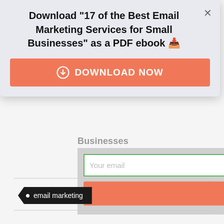[Figure (screenshot): A popup/modal overlay on a webpage prompting users to download '17 of the Best Email Marketing Services for Small Businesses' as a PDF ebook, with a close button and an orange 'DOWNLOAD NOW' button. Below the popup is a partially visible web form with an email input field and another orange 'Download Now' button, followed by a tag labeled 'email marketing'.]